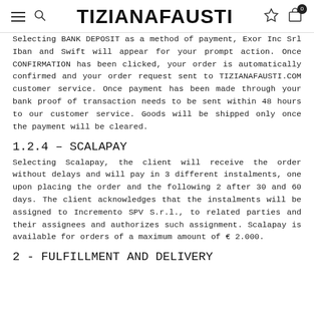TIZIANAFAUSTI
Selecting BANK DEPOSIT as a method of payment, Exor Inc Srl Iban and Swift will appear for your prompt action. Once CONFIRMATION has been clicked, your order is automatically confirmed and your order request sent to TIZIANAFAUSTI.COM customer service. Once payment has been made through your bank proof of transaction needs to be sent within 48 hours to our customer service. Goods will be shipped only once the payment will be cleared.
1.2.4 – SCALAPAY
Selecting Scalapay, the client will receive the order without delays and will pay in 3 different instalments, one upon placing the order and the following 2 after 30 and 60 days. The client acknowledges that the instalments will be assigned to Incremento SPV S.r.l., to related parties and their assignees and authorizes such assignment. Scalapay is available for orders of a maximum amount of € 2.000.
2 - FULFILLMENT AND DELIVERY